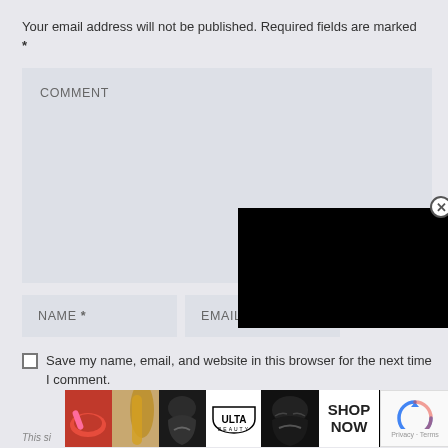Your email address will not be published. Required fields are marked *
[Figure (screenshot): Comment text area input field with label COMMENT on gray background]
[Figure (screenshot): Name input field with label NAME * on gray background]
[Figure (screenshot): Email input field with label EMAIL on gray background]
[Figure (screenshot): Black video/popup overlay with close X button in circle]
Save my name, email, and website in this browser for the next time I comment.
[Figure (screenshot): reCAPTCHA widget with blue spinning arrows and Privacy Terms text]
[Figure (screenshot): Ulta Beauty advertisement banner with makeup images and SHOP NOW button]
This si